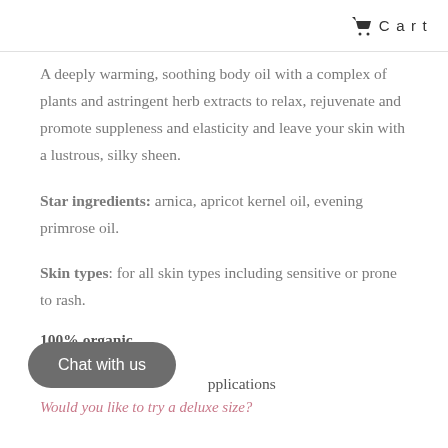Cart
A deeply warming, soothing body oil with a complex of plants and astringent herb extracts to relax, rejuvenate and promote suppleness and elasticity and leave your skin with a lustrous, silky sheen.
Star ingredients: arnica, apricot kernel oil, evening primrose oil.
Skin types: for all skin types including sensitive or prone to rash.
100% organic
Volume: 200ml
applications
Would you like to try a deluxe size?